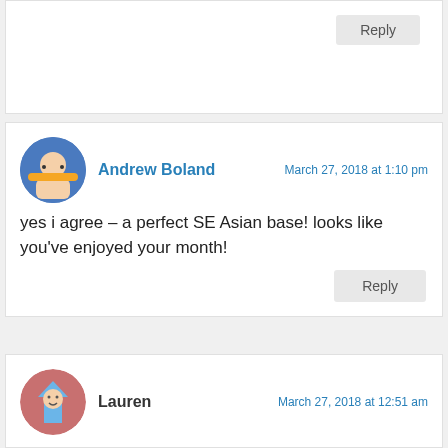Reply
Andrew Boland
March 27, 2018 at 1:10 pm
yes i agree – a perfect SE Asian base! looks like you've enjoyed your month!
Reply
Lauren
March 27, 2018 at 12:51 am
Sorry you had to leave Croatia, but I'm looking forward to more SE Asia posts! I'm losing my